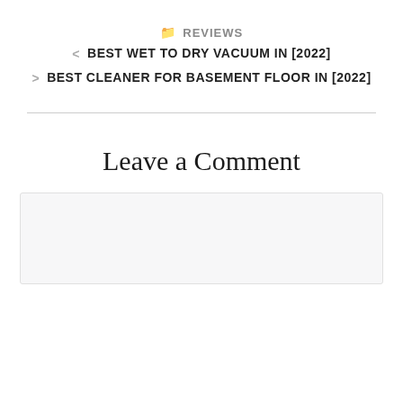🗀 REVIEWS
< BEST WET TO DRY VACUUM IN [2022]
> BEST CLEANER FOR BASEMENT FLOOR IN [2022]
Leave a Comment
[comment text area]